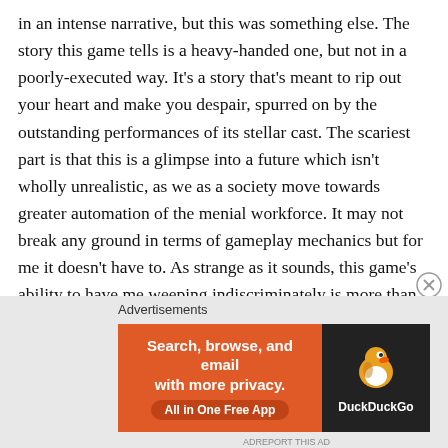in an intense narrative, but this was something else. The story this game tells is a heavy-handed one, but not in a poorly-executed way. It's a story that's meant to rip out your heart and make you despair, spurred on by the outstanding performances of its stellar cast. The scariest part is that this is a glimpse into a future which isn't wholly unrealistic, as we as a society move towards greater automation of the menial workforce. It may not break any ground in terms of gameplay mechanics but for me it doesn't have to. As strange as it sounds, this game's ability to have me weeping indiscriminately is more than enough for me to love it unconditionally.
Advertisements
[Figure (other): DuckDuckGo advertisement banner with orange background. Text reads: Search, browse, and email with more privacy. All in One Free App. DuckDuckGo logo on dark right panel.]